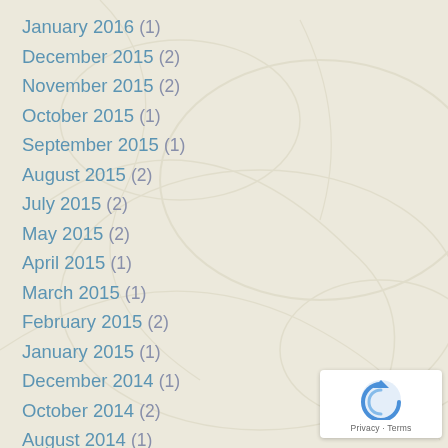January 2016 (1)
December 2015 (2)
November 2015 (2)
October 2015 (1)
September 2015 (1)
August 2015 (2)
July 2015 (2)
May 2015 (2)
April 2015 (1)
March 2015 (1)
February 2015 (2)
January 2015 (1)
December 2014 (1)
October 2014 (2)
August 2014 (1)
[Figure (logo): reCAPTCHA badge with Privacy and Terms links]